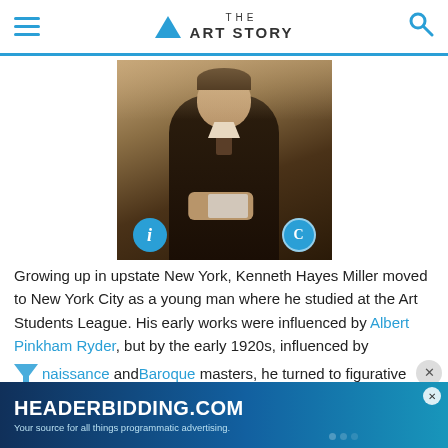THE ART STORY
[Figure (photo): Sepia-toned photograph of Kenneth Hayes Miller, a man in a dark suit holding what appears to be a book or object, shown from approximately waist up. Blue circular info button (i) at bottom left and copyright button (C) at bottom right of image.]
Growing up in upstate New York, Kenneth Hayes Miller moved to New York City as a young man where he studied at the Art Students League. His early works were influenced by Albert Pinkham Ryder, but by the early 1920s, influenced by Renaissance and Baroque masters, he turned to figurative treatments of women shoppers along Fourteenth Street, as seen in [partially obscured] modali... wrote "[partially obscured]
[Figure (infographic): HEADERBIDDING.COM advertisement banner with text 'Your source for all things programmatic advertising.' on a blue gradient background with decorative dots.]